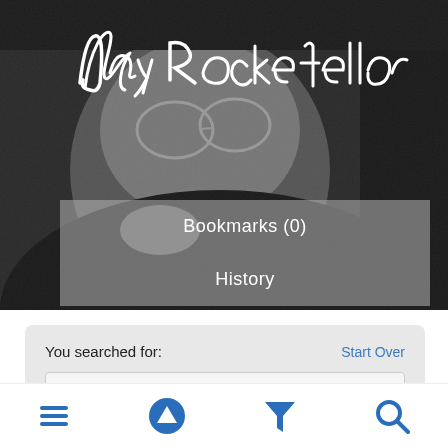[Figure (photo): Black and white close-up photo of a person wearing glasses, with a handwritten white signature overlay reading 'Jay Rockefeller', and a semi-transparent grey menu overlay showing 'Bookmarks (0)' and 'History']
Bookmarks (0)
History
You searched for:
Start Over
Creator Names › Senate Photographi...  ✕
[Figure (screenshot): Bottom navigation bar with four icons: hamburger menu, up-arrow circle, funnel/filter, and search magnifying glass — all in blue]